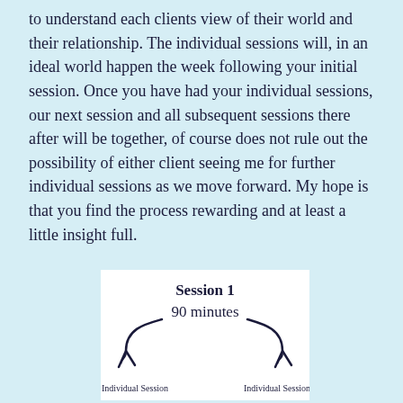to understand each clients view of their world and their relationship. The individual sessions will, in an ideal world happen the week following your initial session. Once you have had your individual sessions, our next session and all subsequent sessions there after will be together, of course does not rule out the possibility of either client seeing me for further individual sessions as we move forward. My hope is that you find the process rewarding and at least a little insight full.
[Figure (infographic): A diagram showing Session 1 (90 minutes) with two curved arrows pointing down-left and down-right to 'Individual Session' labels on each side.]